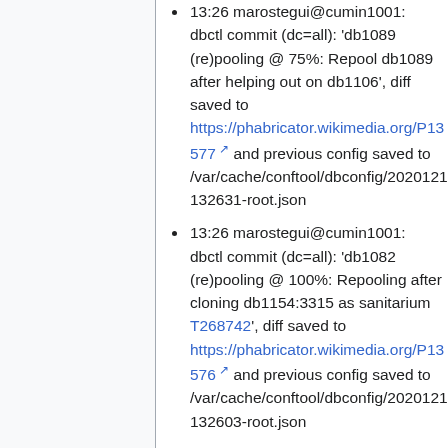13:26 marostegui@cumin1001: dbctl commit (dc=all): 'db1089 (re)pooling @ 75%: Repool db1089 after helping out on db1106', diff saved to https://phabricator.wikimedia.org/P13577 and previous config saved to /var/cache/conftool/dbconfig/20201217-132631-root.json
13:26 marostegui@cumin1001: dbctl commit (dc=all): 'db1082 (re)pooling @ 100%: Repooling after cloning db1154:3315 as sanitarium T268742', diff saved to https://phabricator.wikimedia.org/P13576 and previous config saved to /var/cache/conftool/dbconfig/20201217-132603-root.json
13:11 marostegui@cumin1001: dbctl commit (dc=all): 'db1089 (re)pooling @ 50%: Repool db1089 after helping